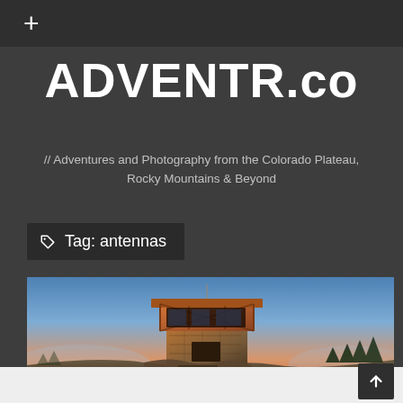+
ADVENTR.co
// Adventures and Photography from the Colorado Plateau, Rocky Mountains & Beyond
Tag: antennas
[Figure (photo): A stone and wood fire lookout tower photographed at sunset/dusk, sitting atop a rocky mountain summit, with pine trees visible in the background and a colorful blue-orange sky behind it.]